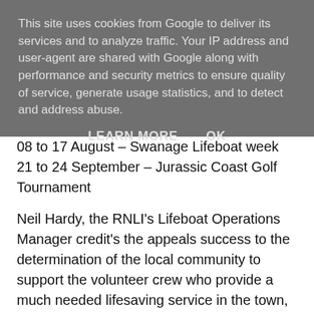This site uses cookies from Google to deliver its services and to analyze traffic. Your IP address and user-agent are shared with Google along with performance and security metrics to ensure quality of service, generate usage statistics, and to detect and address abuse.
LEARN MORE   OK
08 to 17 August – Swanage Lifeboat week
21 to 24 September – Jurassic Coast Golf Tournament
Neil Hardy, the RNLI's Lifeboat Operations Manager credit's the appeals success to the determination of the local community to support the volunteer crew who provide a much needed lifesaving service in the town, he says;
'Swanage RNLI holds a special place in many people's hearts and we have had tremendous support, not just from our friends in the local community, but also that of people who, although they don't live here, are fond of Swanage or who use the water's nearby and want to offer their help. We're of course very grateful and looking forward to the next